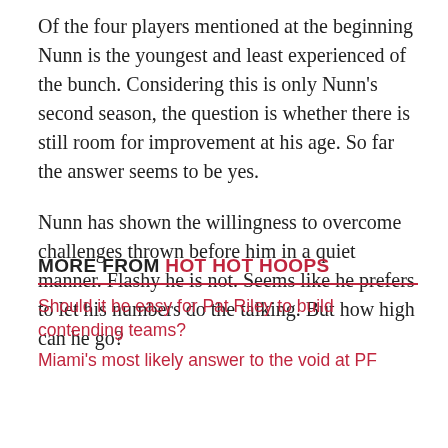Of the four players mentioned at the beginning Nunn is the youngest and least experienced of the bunch. Considering this is only Nunn's second season, the question is whether there is still room for improvement at his age. So far the answer seems to be yes.
Nunn has shown the willingness to overcome challenges thrown before him in a quiet manner. Flashy he is not. Seems like he prefers to let his numbers do the talking. But how high can he go?
MORE FROM HOT HOT HOOPS
Should it be easy for Pat Riley to build contending teams?
Miami's most likely answer to the void at PF